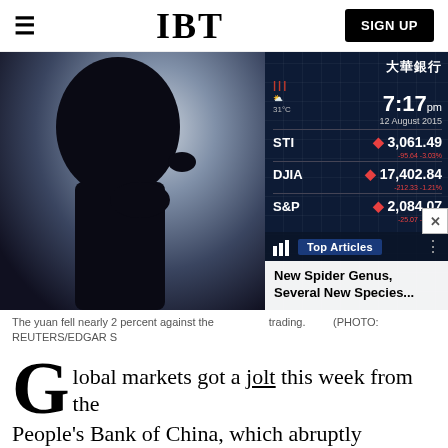IBT | SIGN UP
[Figure (photo): Split image: left side shows a dark silhouette of a person's head against a bright pixelated background; right side shows an electronic stock market display board showing STI 3,061.49, DJIA 17,402.84, S&P 2,084.07, time 7:17pm, date 12 August 2015, temperature 31°C, with Chinese characters 大華銀行. An overlay popup shows 'Top Articles' with 'New Spider Genus, Several New Species...']
The yuan fell nearly 2 percent against the trading.    (PHOTO: REUTERS/EDGAR S
Global markets got a jolt this week from the People's Bank of China, which abruptly